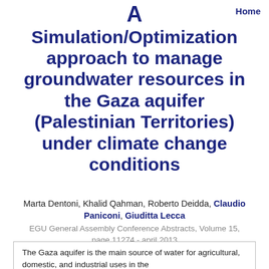Home
A Simulation/Optimization approach to manage groundwater resources in the Gaza aquifer (Palestinian Territories) under climate change conditions
Marta Dentoni, Khalid Qahman, Roberto Deidda, Claudio Paniconi, Giuditta Lecca
EGU General Assembly Conference Abstracts, Volume 15, page 11274 - april 2013
The Gaza aquifer is the main source of water for agricultural, domestic, and industrial uses in the